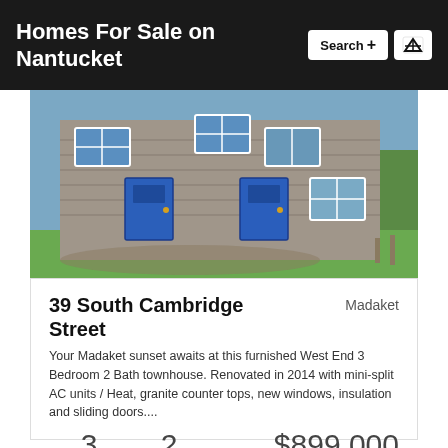Homes For Sale on Nantucket
[Figure (photo): Exterior photo of a multi-unit townhouse with grey cedar shingle siding, blue entry doors, and green lawn on a sunny day]
39 South Cambridge Street
Madaket
Your Madaket sunset awaits at this furnished West End 3 Bedroom 2 Bath townhouse. Renovated in 2014 with mini-split AC units / Heat, granite counter tops, new windows, insulation and sliding doors....
| BEDROOMS | BATHROOMS | USD |
| --- | --- | --- |
| 3 | 2 | $899,000 |